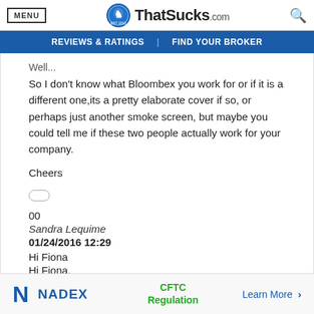MENU | ThatSucks.com | [search]
REVIEWS & RATINGS | FIND YOUR BROKER
Well...
So I don't know what Bloombex you work for or if it is a different one,its a pretty elaborate cover if so, or perhaps just another smoke screen, but maybe you could tell me if these two people actually work for your company.
Cheers
00
Sandra Lequime
01/24/2016 12:29
Hi Fiona
Hi Fiona,
NADEX | CFTC Regulation | Learn More >